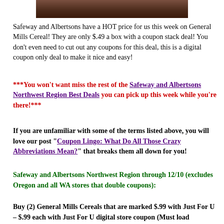[Figure (photo): Partial photo strip at top of page showing food/cereal product image, cropped]
Safeway and Albertsons have a HOT price for us this week on General Mills Cereal! They are only $.49 a box with a coupon stack deal! You don’t even need to cut out any coupons for this deal, this is a digital coupon only deal to make it nice and easy!
***You won’t want miss the rest of the Safeway and Albertsons Northwest Region Best Deals you can pick up this week while you’re there!***
If you are unfamiliar with some of the terms listed above, you will love our post “Coupon Lingo: What Do All Those Crazy Abbreviations Mean?” that breaks them all down for you!
Safeway and Albertsons Northwest Region through 12/10 (excludes Oregon and all WA stores that double coupons):
Buy (2) General Mills Cereals that are marked $.99 with Just For U – $.99 each with Just For U digital store coupon (Must load